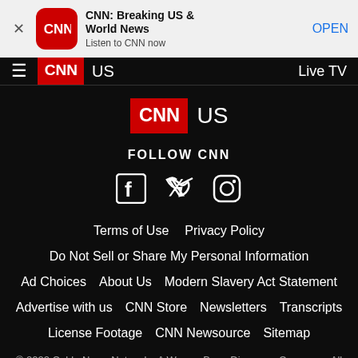[Figure (screenshot): CNN app banner with close button, CNN red app icon, app title 'CNN: Breaking US & World News', subtitle 'Listen to CNN now', and OPEN button]
[Figure (screenshot): CNN navigation bar with hamburger menu, CNN red logo, 'US' section label, and 'Live TV' link on right]
[Figure (logo): CNN logo in red box followed by 'US' text in white]
FOLLOW CNN
[Figure (illustration): Social media icons: Facebook, Twitter, Instagram]
Terms of Use   Privacy Policy
Do Not Sell or Share My Personal Information
Ad Choices   About Us   Modern Slavery Act Statement
Advertise with us   CNN Store   Newsletters   Transcripts
License Footage   CNN Newsource   Sitemap
© 2022 Cable News Network.  A Warner Bros. Discovery Company.  All